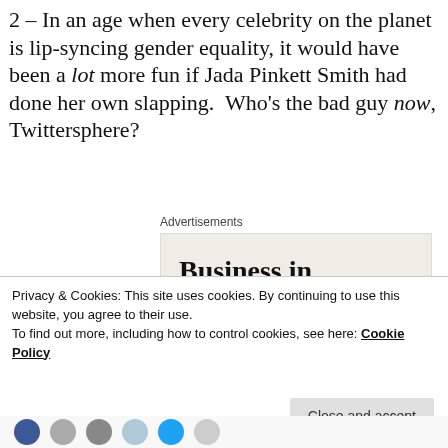2 – In an age when every celebrity on the planet is lip-syncing gender equality, it would have been a lot more fun if Jada Pinkett Smith had done her own slapping. Who's the bad guy now, Twittersphere?
Advertisements
[Figure (screenshot): Advertisement for WordPress showing two sections: top light beige section with bold text 'Business in the front...' and bottom colorful gradient section with bold text 'WordPress in the back.']
Privacy & Cookies: This site uses cookies. By continuing to use this website, you agree to their use.
To find out more, including how to control cookies, see here: Cookie Policy
Close and accept